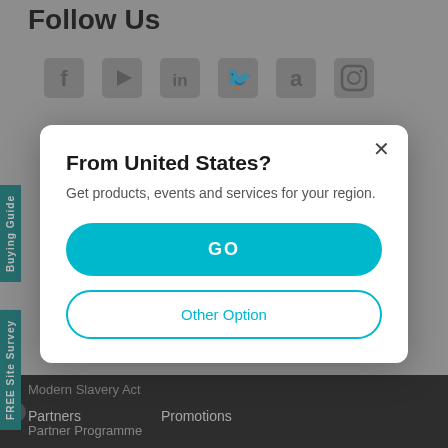Follow Us
[Figure (screenshot): Row of social media icons: Facebook, YouTube, LinkedIn, Twitter, Amazon, Instagram]
[Figure (screenshot): Modal dialog with close X button, title 'From United States?', description text, GO button and Other Option button]
Modern Slavery Act
Partners   Promotions
Partner Programme